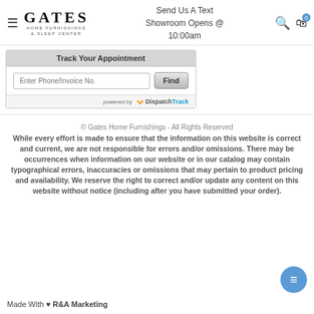Gates Home Furnishings & Sleep Center | Send Us A Text | Showroom Opens @ 10:00am
[Figure (screenshot): Track Your Appointment widget with phone/invoice input field and Find button, powered by DispatchTrack]
© Gates Home Furnishings - All Rights Reserved
While every effort is made to ensure that the information on this website is correct and current, we are not responsible for errors and/or omissions. There may be occurrences when information on our website or in our catalog may contain typographical errors, inaccuracies or omissions that may pertain to product pricing and availability. We reserve the right to correct and/or update any content on this website without notice (including after you have submitted your order).
Made With ♥ R&A Marketing